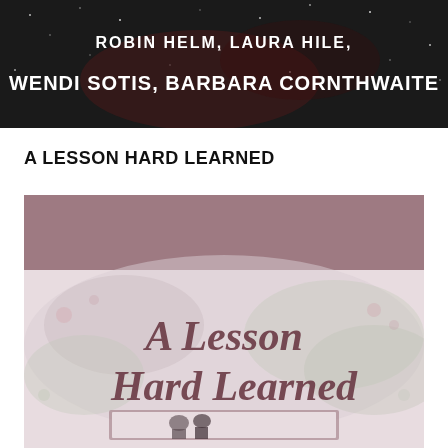[Figure (illustration): Top book cover banner image with dark starry/night background showing author names in white text: 'ROBIN HELM, LAURA HILE, WENDI SOTIS, BARBARA CORNTHWAITE']
A LESSON HARD LEARNED
[Figure (illustration): Book cover for 'A Lesson Hard Learned' showing a mauve/dusty rose banner at the top, large cursive title text 'A Lesson Hard Learned' in dark brownish-mauve color, and below a framed image of two figures (a man and woman) standing in a soft pink/green misty outdoor scene]